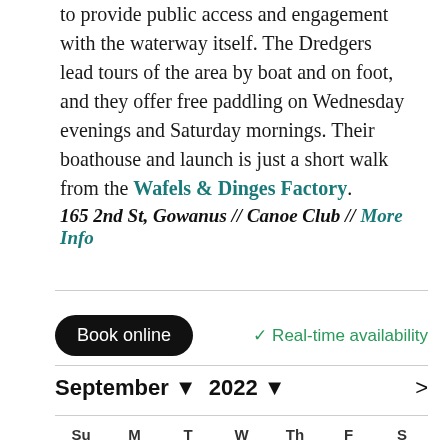to provide public access and engagement with the waterway itself. The Dredgers lead tours of the area by boat and on foot, and they offer free paddling on Wednesday evenings and Saturday mornings. Their boathouse and launch is just a short walk from the Wafels & Dinges Factory.
165 2nd St, Gowanus // Canoe Club // More Info
Book online
✓ Real-time availability
September ▼  2022 ▼
| Su | M | T | W | Th | F | S |
| --- | --- | --- | --- | --- | --- | --- |
| 28 | 29 | 30 | 31 | 1 | 2 | 3 |